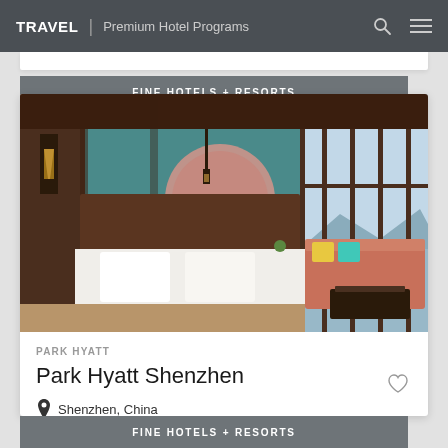TRAVEL | Premium Hotel Programs
FINE HOTELS + RESORTS
[Figure (photo): Hotel room interior showing a large bed with white linens, teal/blue accent wall with circular art piece, warm wood ceiling, pendant lights, and a coral/salmon sectional sofa with colorful pillows near floor-to-ceiling windows overlooking a coastal city skyline.]
PARK HYATT
Park Hyatt Shenzhen
Shenzhen, China
FINE HOTELS + RESORTS